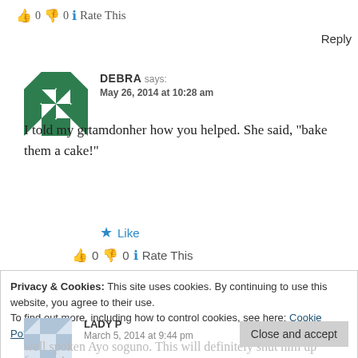👍 0 👎 0 ℹ Rate This
Reply
[Figure (illustration): Green quilt-pattern avatar for commenter DEBRA]
DEBRA says: May 26, 2014 at 10:28 am
I told my grtamdonher how you helped. She said, "bake them a cake!"
★ Like
👍 0 👎 0 ℹ Rate This
Privacy & Cookies: This site uses cookies. By continuing to use this website, you agree to their use.
To find out more, including how to control cookies, see here: Cookie Policy
Close and accept
[Figure (illustration): Light blue/white patterned avatar for commenter LADY P]
LADY P
March 5, 2014 at 9:44 pm
well spoken Ayo soguno. This will definitely shut him up forever!